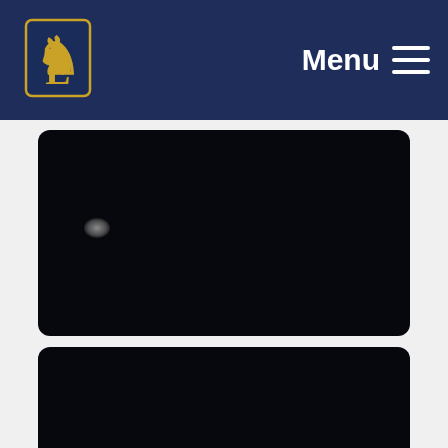Menu
[Figure (screenshot): Dark/black card panel, partially visible at top of page body]
[Figure (screenshot): Dark card panel with white text reading: Director (Film, Television, Radio or Stage)]
[Figure (screenshot): Dark card panel partially visible at bottom, showing hands playing violin/strings, with partial text 'Radio Presenter']